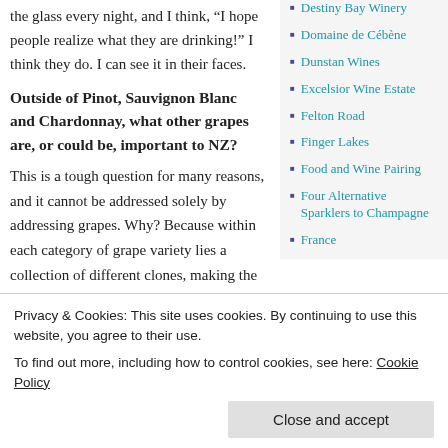the glass every night, and I think, “I hope people realize what they are drinking!” I think they do. I can see it in their faces.
Outside of Pinot, Sauvignon Blanc and Chardonnay, what other grapes are, or could be, important to NZ?
This is a tough question for many reasons, and it cannot be addressed solely by addressing grapes. Why? Because within each category of grape variety lies a collection of different clones, making the answer to “which grape” complex.
Additionally, clones develop differently in
Destiny Bay Winery
Domaine de Cébène
Dunstan Wines
Excelsior Wine Estate
Felton Road
Finger Lakes
Food and Wine Pairing
Four Alternative Sparklers to Champagne
France
Privacy & Cookies: This site uses cookies. By continuing to use this website, you agree to their use.
To find out more, including how to control cookies, see here: Cookie Policy
varieties that are doing well in New
China's Wine